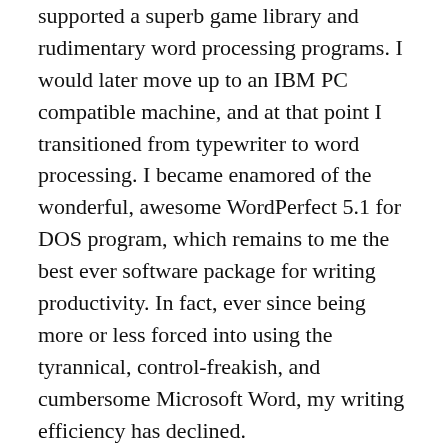supported a superb game library and rudimentary word processing programs. I would later move up to an IBM PC compatible machine, and at that point I transitioned from typewriter to word processing. I became enamored of the wonderful, awesome WordPerfect 5.1 for DOS program, which remains to me the best ever software package for writing productivity. In fact, ever since being more or less forced into using the tyrannical, control-freakish, and cumbersome Microsoft Word, my writing efficiency has declined.
Today, I've morphed over to Apple products, but I'm still stuck with Microsoft Word. Someday I'd like to give a serious tryout to Scrivener, a word processing program that has a fiercely devoted following. As for my blogs, I use the WordPress platform, which I find easy to navigate.